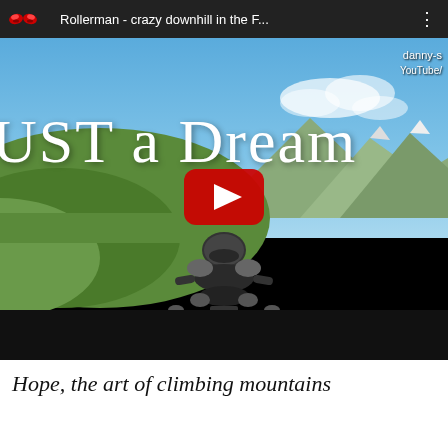[Figure (screenshot): YouTube video thumbnail for 'Rollerman - crazy downhill in the F...' showing a person in full protective roller suit crouched low on a mountain road with text 'JUST A DREAM' overlaid. A red YouTube play button is centered on the thumbnail. Channel name 'danny-s / YouTube/' visible top right. Video player top bar shows title and three-dot menu.]
Hope, the art of climbing mountains